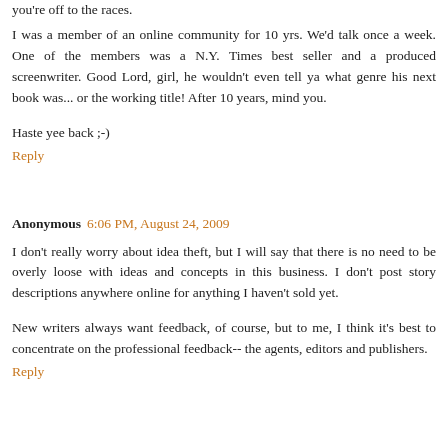you're off to the races.
I was a member of an online community for 10 yrs. We'd talk once a week. One of the members was a N.Y. Times best seller and a produced screenwriter. Good Lord, girl, he wouldn't even tell ya what genre his next book was... or the working title! After 10 years, mind you.
Haste yee back ;-)
Reply
Anonymous 6:06 PM, August 24, 2009
I don't really worry about idea theft, but I will say that there is no need to be overly loose with ideas and concepts in this business. I don't post story descriptions anywhere online for anything I haven't sold yet.
New writers always want feedback, of course, but to me, I think it's best to concentrate on the professional feedback-- the agents, editors and publishers.
Reply